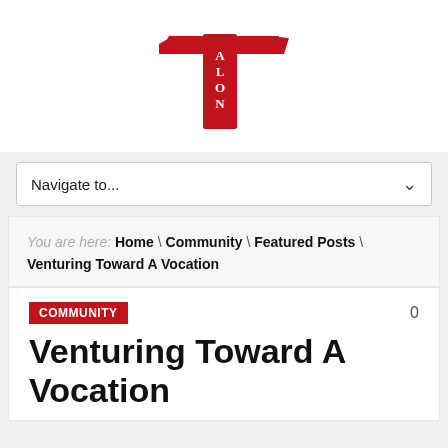[Figure (logo): Talon newspaper logo — large red T with a falcon wing, with 'ALON' text in a vertical red banner]
Navigate to...
You are here: Home \ Community \ Featured Posts \ Venturing Toward A Vocation
COMMUNITY
0
Venturing Toward A Vocation